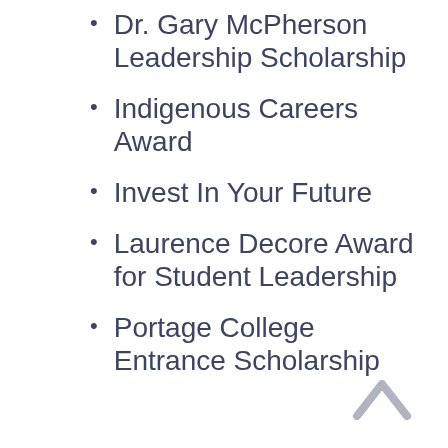Dr. Gary McPherson Leadership Scholarship
Indigenous Careers Award
Invest In Your Future
Laurence Decore Award for Student Leadership
Portage College Entrance Scholarship